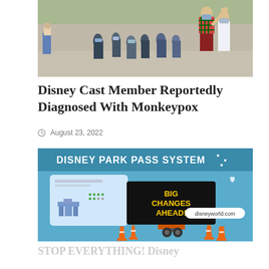[Figure (photo): Disney cast members wearing masks greeting guests at a Disney park, lining up along a street]
Disney Cast Member Reportedly Diagnosed With Monkeypox
August 23, 2022
[Figure (illustration): Illustration for Disney Park Pass System article showing a road sign truck with 'BIG CHANGES AHEAD!' message board, traffic cones, and Disney castle graphic with text 'disneyworld.com']
STOP EVERYTHING! Disney